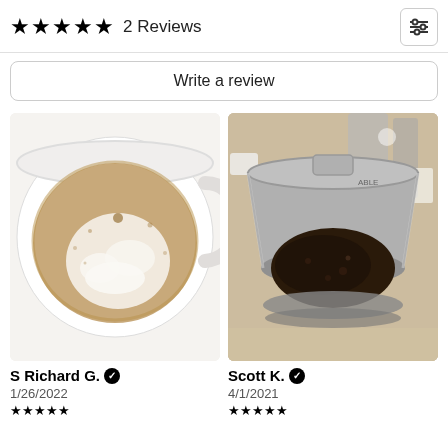★★★★★ 2 Reviews
Write a review
[Figure (photo): Overhead view of a white coffee mug with frothy coffee and foam]
[Figure (photo): Overhead view of a metal coffee filter with used coffee grounds on a granite countertop]
S Richard G. ✔ 1/26/2022
Scott K. ✔ 4/1/2021